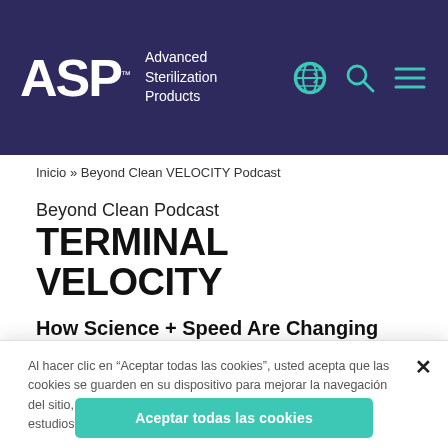[Figure (logo): ASP Advanced Sterilization Products logo with navigation icons (globe, search, menu) on dark purple/navy background header]
Inicio » Beyond Clean VELOCITY Podcast
Beyond Clean Podcast
TERMINAL VELOCITY
How Science + Speed Are Changing the Industry One Biological Indicator at a Time
Al hacer clic en "Aceptar todas las cookies", usted acepta que las cookies se guarden en su dispositivo para mejorar la navegación del sitio, analizar el uso del mismo, y colaborar con nuestros estudios para marketing.
Aceptar todas las cookies